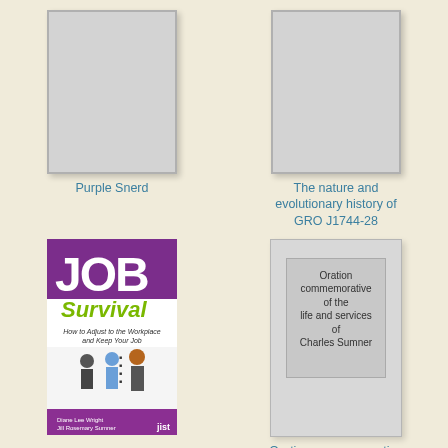[Figure (illustration): Gray placeholder book cover for Purple Snerd]
Purple Snerd
[Figure (illustration): Gray placeholder book cover for The nature and evolutionary history of GRO J1744-28]
The nature and evolutionary history of GRO J1744-28
[Figure (photo): Book cover for Job Survival: How to Adjust to the Workplace and Keep Your Job]
Job Survival
[Figure (illustration): Gray placeholder book cover for Oration commemorative of the life and services of Charles Sumner]
Oration commemorative of the life and services of Charles Sumner
[Figure (illustration): Gray placeholder book cover partial at bottom left]
[Figure (illustration): Partial book cover at bottom right labeled VOLUME I]